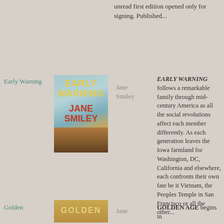unread first edition opened only for signing. Published...
Early Warning
[Figure (photo): Book cover of Early Warning by Jane Smiley, showing yellow title text on teal/blue sky background with author name in red, and a road scene at bottom]
Jane Smiley
EARLY WARNING follows a remarkable family through mid-century America as all the social revolutions affect each member differently. As each generation leaves the Iowa farmland for Washington, DC, California and elsewhere, each confronts their own fate be it Vietnam, the Peoples Temple in San Francisco or all the other...
Golden
[Figure (photo): Book cover of Golden Age by Jane Smiley, showing golden text]
Jane
GOLDEN AGE begins in